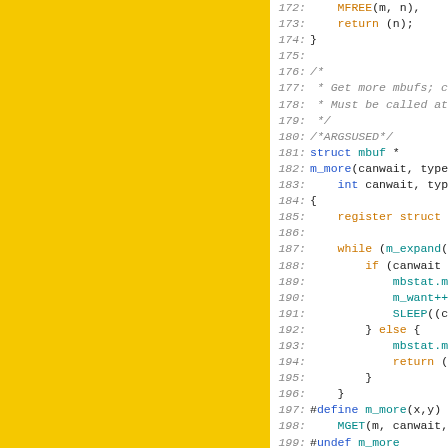[Figure (other): Yellow/gold colored panel on the left half of the page, representing a large colored background area.]
Source code listing lines 172-201 showing C code for m_more function with syntax highlighting. Line numbers in italic gray, keywords in blue, identifiers/calls in orange/teal, comments in gray italic.